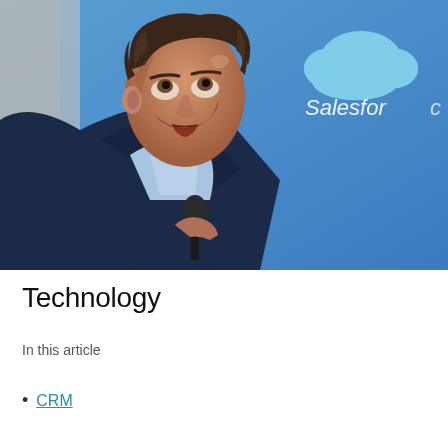[Figure (photo): A man in a dark blue suit and light blue shirt, looking upward, holding a microphone. Behind him is a blue Salesforce banner with a cloud logo and the Salesforce wordmark. The photo appears to be taken outdoors at a Salesforce event.]
Technology
In this article
CRM